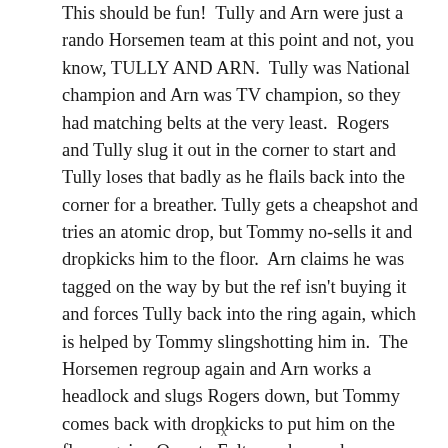This should be fun!  Tully and Arn were just a rando Horsemen team at this point and not, you know, TULLY AND ARN.  Tully was National champion and Arn was TV champion, so they had matching belts at the very least.  Rogers and Tully slug it out in the corner to start and Tully loses that badly as he flails back into the corner for a breather. Tully gets a cheapshot and tries an atomic drop, but Tommy no-sells it and dropkicks him to the floor.  Arn claims he was tagged on the way by but the ref isn't buying it and forces Tully back into the ring again, which is helped by Tommy slingshotting him in.  The Horsemen regroup again and Arn works a headlock and slugs Rogers down, but Tommy comes back with dropkicks to put him on the floor again.  Over to Fulton, who works a hammerlock on Arn, but Tully comes in with a knee behind the ref's back and they beat on [image]
x